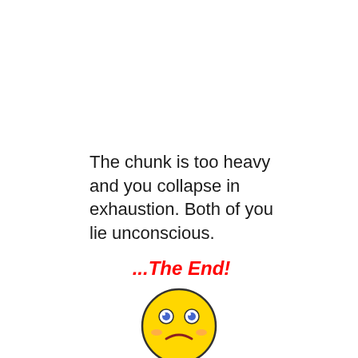The chunk is too heavy and you collapse in exhaustion. Both of you lie unconscious.
...The End!
[Figure (illustration): A sad yellow smiley face emoji with blue eyes and a frown]